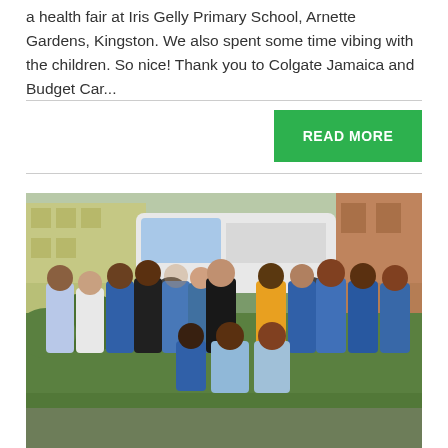a health fair at Iris Gelly Primary School, Arnette Gardens, Kingston. We also spent some time vibing with the children. So nice! Thank you to Colgate Jamaica and Budget Car...
READ MORE
[Figure (photo): Group photo of approximately 20 people in medical scrubs (blue, black, light blue) and casual clothing (yellow shirt) standing and kneeling in front of a white van and a building with greenery.]